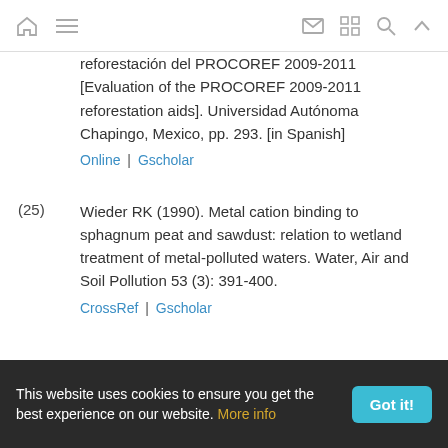Navigation bar with home, menu, mail, grid, search, and up icons
reforestación del PROCOREF 2009-2011 [Evaluation of the PROCOREF 2009-2011 reforestation aids]. Universidad Autónoma Chapingo, Mexico, pp. 293. [in Spanish]
Online | Gscholar
(25) Wieder RK (1990). Metal cation binding to sphagnum peat and sawdust: relation to wetland treatment of metal-polluted waters. Water, Air and Soil Pollution 53 (3): 391-400.
CrossRef | Gscholar
This website uses cookies to ensure you get the best experience on our website. More info  Got it!